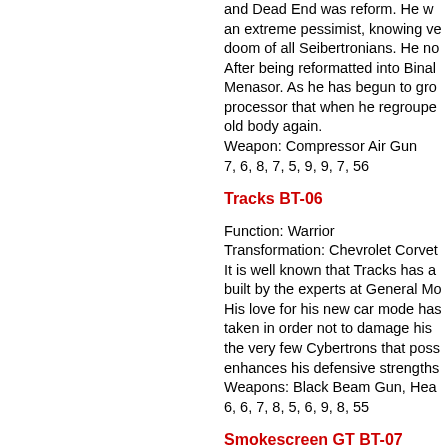and Dead End was reform. He was an extreme pessimist, knowing very doom of all Seibertronians. He no After being reformatted into Binal Menasor. As he has begun to gro processor that when he regroupe old body again. Weapon: Compressor Air Gun 7, 6, 8, 7, 5, 9, 9, 7, 56
Tracks BT-06
Function: Warrior Transformation: Chevrolet Corvet It is well known that Tracks has a built by the experts at General Mo His love for his new car mode has taken in order not to damage his the very few Cybertrons that poss enhances his defensive strengths Weapons: Black Beam Gun, Hea 6, 6, 7, 8, 5, 6, 9, 8, 55
Smokescreen GT BT-07
Function: Diversionary Tactician Transformation: Subaru Impreza Earths defence Cybertron team fa introduction of the new technolog Smokescreen is now an upgrade the same spark into several copie same time. However GT is still ar Transformers' vital activity as we